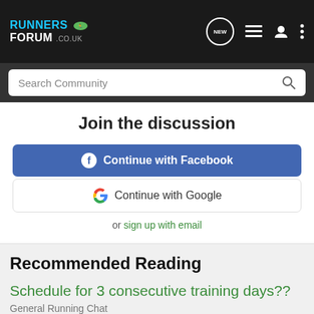RUNNERS FORUM .co.uk — navigation bar with NEW chat, list, user, and menu icons
Search Community
Join the discussion
Continue with Facebook
Continue with Google
or sign up with email
Recommended Reading
Schedule for 3 consecutive training days??
General Running Chat